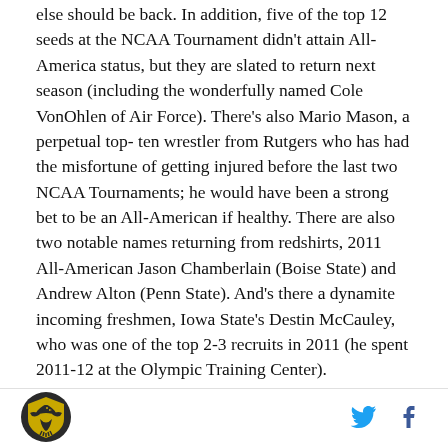else should be back. In addition, five of the top 12 seeds at the NCAA Tournament didn't attain All-America status, but they are slated to return next season (including the wonderfully named Cole VonOhlen of Air Force). There's also Mario Mason, a perpetual top- ten wrestler from Rutgers who has had the misfortune of getting injured before the last two NCAA Tournaments; he would have been a strong bet to be an All-American if healthy. There are also two notable names returning from redshirts, 2011 All-American Jason Chamberlain (Boise State) and Andrew Alton (Penn State). And's there a dynamite incoming freshmen, Iowa State's Destin McCauley, who was one of the top 2-3 recruits in 2011 (he spent 2011-12 at the Olympic Training Center).
[Figure (logo): SB Nation eagle logo in gold/yellow and black]
[Figure (logo): Twitter bird icon in blue]
[Figure (logo): Facebook f icon in dark blue]